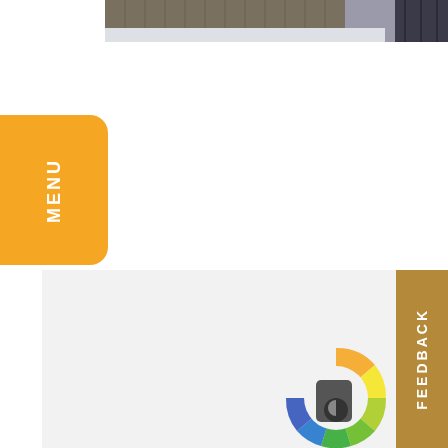[Figure (photo): Partial photo of a snowy outdoor scene with a wooden fence and what appears to be a dark structure or equipment on the right side. Snow is visible on the ground.]
[Figure (other): Orange rounded rectangle button with white vertical text reading MENU, positioned on the left side of the page.]
[Figure (other): Light gray rectangular section in the lower portion of the page, containing a partial donut/gauge chart with rainbow colors (green, yellow, orange) and a dark gray icon with a moon/crescent symbol. A tan vertical feedback button is visible on the far right.]